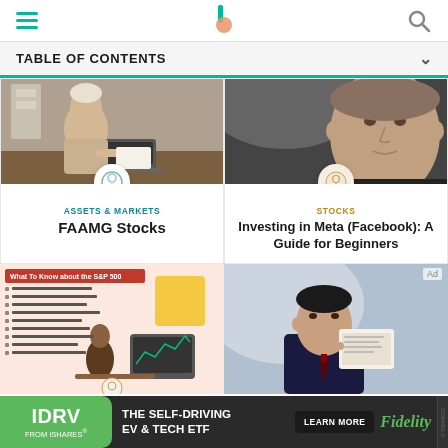TABLE OF CONTENTS
[Figure (photo): Person sitting at desk writing near laptop]
[Figure (photo): Man in dark suit looking upward (Mark Zuckerberg)]
ASSETS & MARKETS
FAAMG Stocks
STOCKS
Investing in Meta (Facebook): A Guide for Beginners
[Figure (infographic): What To Know about the S&P 500 infographic with bullet points and illustration]
[Figure (photo): Man in suit reading a document]
[Figure (infographic): IDRV from iShares - The Self-Driving EV & Tech ETF - Learn More - Fidelity advertisement banner]